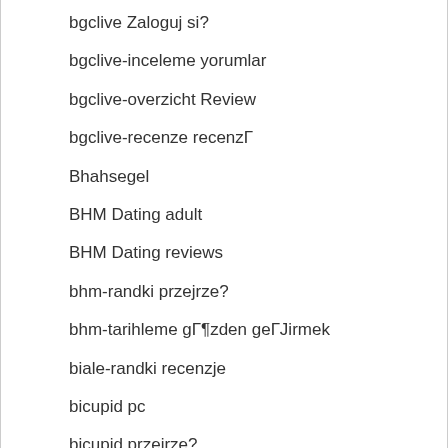bgclive Zaloguj si?
bgclive-inceleme yorumlar
bgclive-overzicht Review
bgclive-recenze recenzГ
Bhahsegel
BHM Dating adult
BHM Dating reviews
bhm-randki przejrze?
bhm-tarihleme gГ¶zden geГЈirmek
biale-randki recenzje
bicupid pc
bicupid przejrze?
Bicupid review